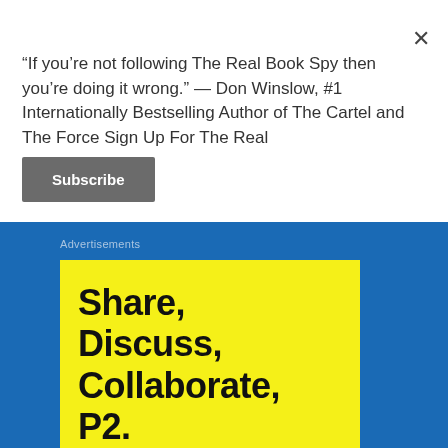“If you’re not following The Real Book Spy then you’re doing it wrong.” — Don Winslow, #1 Internationally Bestselling Author of The Cartel and The Force Sign Up For The Real
Subscribe
Advertisements
[Figure (other): Yellow advertisement box with bold black text reading 'Share, Discuss, Collaborate, P2.' on a blue background]